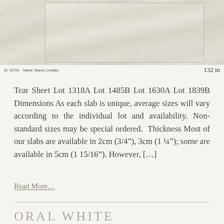[Figure (photo): Slab of Bianco Cristallo marble/granite material, light beige/cream color with subtle veining, shown in a product listing format]
ID: 42794   Name: Bianco Cristallo   132 in
Tear Sheet Lot 1318A Lot 1485B Lot 1630A Lot 1839B Dimensions As each slab is unique, average sizes will vary according to the individual lot and availability. Non-standard sizes may be special ordered. Thickness Most of our slabs are available in 2cm (3/4″), 3cm (1 ¼″); some are available in 5cm (1 15/16″). However, […]
Read More…
ORAL WHITE